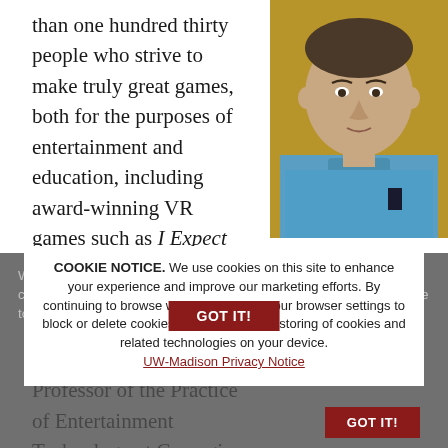than one hundred thirty people who strive to make truly great games, both for the purposes of entertainment and education, including award-winning VR games such as I Expect You To Die, HoloLAB Champions, and Until You Fall. Schell serves as Distinguished Professor of the Practice of Entertainment Technology at Carnegie Mellon University and is the author of the award-winning book The Art of
[Figure (photo): Headshot of a man in a blue patterned shirt against a yellow-green background]
We use cookies on this site. By continuing to browse without changing your browser settings to block or delete cookies, you agree to the UW-Madison Privacy Notice.
COOKIE NOTICE. We use cookies on this site to enhance your experience and improve our marketing efforts. By continuing to browse without changing your browser settings to block or delete cookies, you agree to the storing of cookies and related technologies on your device. UW-Madison Privacy Notice  GOT IT!